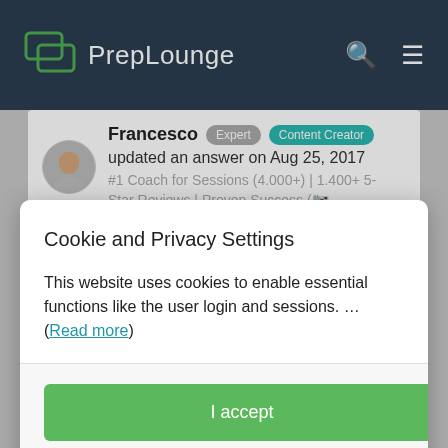PrepLounge
Francesco   Expert   Content Creator
updated an answer on Aug 25, 2017
#1 Coach for Sessions (4.000+) | 1.400+ 5-Star Reviews | Proven Success (…
Cookie and Privacy Settings
This website uses cookies to enable essential functions like the user login and sessions. … (Read more)
I accept
Manage settings individually